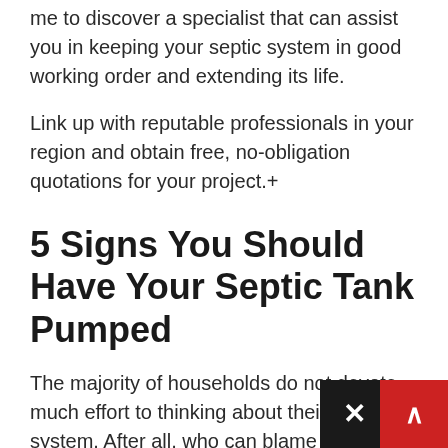me to discover a specialist that can assist you in keeping your septic system in good working order and extending its life.
Link up with reputable professionals in your region and obtain free, no-obligation quotations for your project.+
5 Signs You Should Have Your Septic Tank Pumped
The majority of households do not devote much effort to thinking about their septic system. After all, who can blame them?! However. if this leads in a lack of attention, it ma